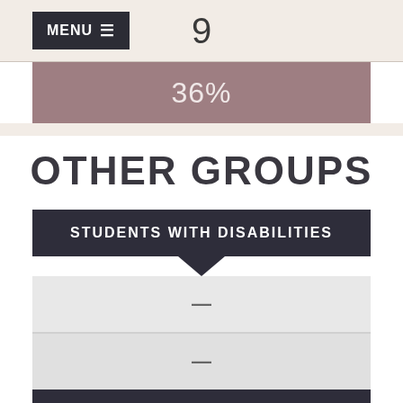MENU
9
36%
OTHER GROUPS
STUDENTS WITH DISABILITIES
—
—
ECONOMICALLY DISADVANTAGED
16